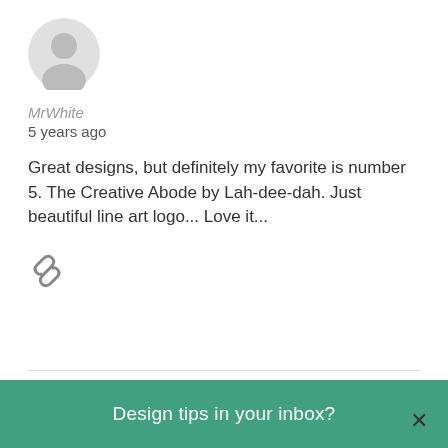[Figure (illustration): Gray circular default user avatar icon]
MrWhite
5 years ago
Great designs, but definitely my favorite is number 5. The Creative Abode by Lah-dee-dah. Just beautiful line art logo... Love it...
[Figure (illustration): Gray chain/link icon]
[Figure (illustration): Gray circular default user avatar icon (second comment)]
Design tips in your inbox?